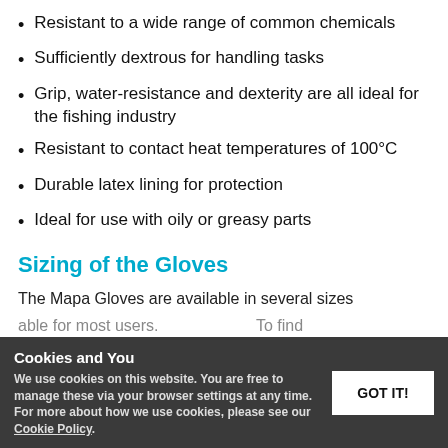Resistant to a wide range of common chemicals
Sufficiently dextrous for handling tasks
Grip, water-resistance and dexterity are all ideal for the fishing industry
Resistant to contact heat temperatures of 100°C
Durable latex lining for protection
Ideal for use with oily or greasy parts
Sizing of the Gloves
The Mapa Gloves are available in several sizes
able for most users. To find your perfect pair, please measure the match the results to the table below.
Cookies and You
We use cookies on this website. You are free to manage these via your browser settings at any time. For more about how we use cookies, please see our Cookie Policy.